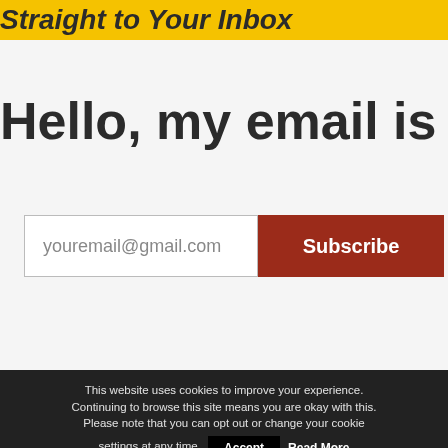Straight to Your Inbox
Hello, my email is
youremail@gmail.com
Subscribe
This website uses cookies to improve your experience. Continuing to browse this site means you are okay with this. Please note that you can opt out or change your cookie settings at any time.
Accept
Read More